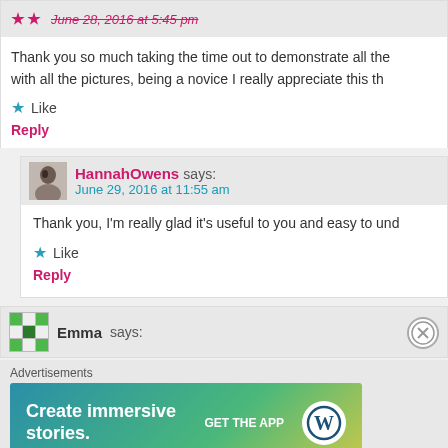June 28, 2016 at 5:45 pm
Thank you so much taking the time out to demonstrate all the with all the pictures, being a novice I really appreciate this th
Like
Reply
HannahOwens says:
June 29, 2016 at 11:55 am
Thank you, I'm really glad it's useful to you and easy to und
Like
Reply
Emma says:
[Figure (infographic): WordPress advertisement banner: 'Create immersive stories. GET THE APP' with WordPress logo]
Advertisements